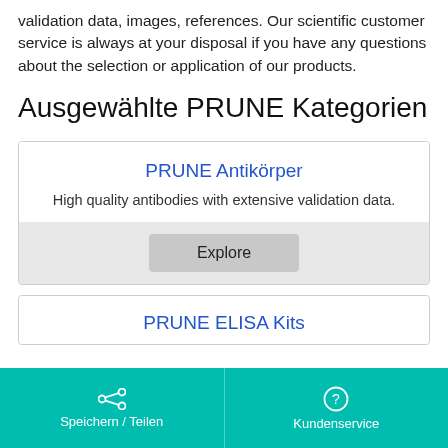validation data, images, references. Our scientific customer service is always at your disposal if you have any questions about the selection or application of our products.
Ausgewählte PRUNE Kategorien
PRUNE Antikörper
High quality antibodies with extensive validation data.
Explore
PRUNE ELISA Kits
Speichern / Teilen    Kundenservice